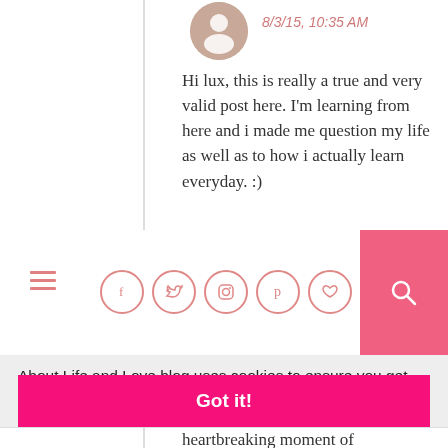8/3/15, 10:35 AM
Hi lux, this is really a true and very valid post here. I'm learning from here and i made me question my life as well as to how i actually learn everyday. :)
[Figure (other): Blog navigation bar with hamburger menu, social media icons (Facebook, Twitter, Instagram, Pinterest, Heart/Bloglovin, Tumblr) in pink circles, and pink search button]
About Life and Love blog uses cookies to ensure you get the best experience on our website. Learn more
Got it!
heartbreaking moment of